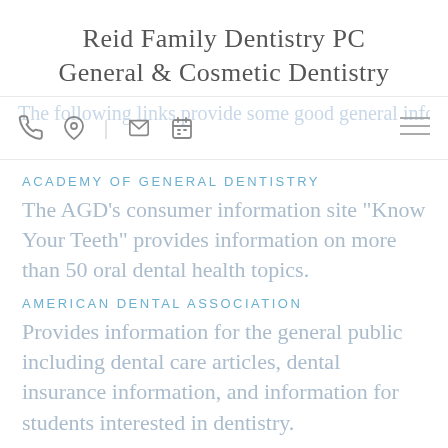Reid Family Dentistry PC
General & Cosmetic Dentistry
The following links provide some good general information on dentistry.
ACADEMY OF GENERAL DENTISTRY
The AGD's consumer information site "Know Your Teeth" provides information on more than 50 oral dental health topics.
AMERICAN DENTAL ASSOCIATION
Provides information for the general public including dental care articles, dental insurance information, and information for students interested in dentistry.